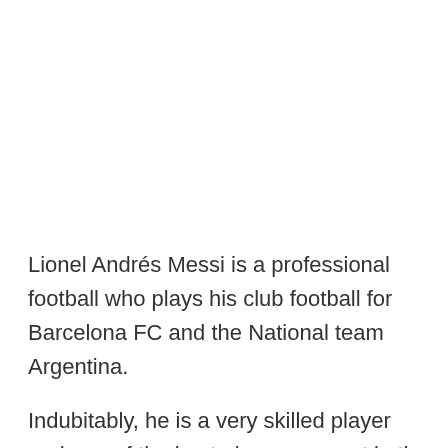Lionel Andrés Messi is a professional football who plays his club football for Barcelona FC and the National team Argentina.
Indubitably, he is a very skilled player and one of the best players current in the world of football. As a result, he is adored by a multitude of football